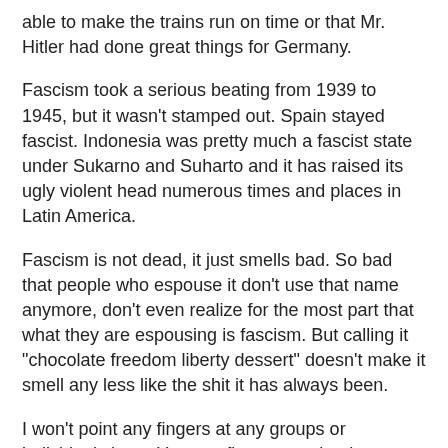able to make the trains run on time or that Mr. Hitler had done great things for Germany.
Fascism took a serious beating from 1939 to 1945, but it wasn't stamped out. Spain stayed fascist. Indonesia was pretty much a fascist state under Sukarno and Suharto and it has raised its ugly violent head numerous times and places in Latin America.
Fascism is not dead, it just smells bad. So bad that people who espouse it don't use that name anymore, don't even realize for the most part that what they are espousing is fascism. But calling it "chocolate freedom liberty dessert" doesn't make it smell any less like the shit it has always been.
I won't point any fingers at any groups or individuals here. You can figure out who they are for yourself. There are a few handy checklists or definitions at the usual place, but I'll provide you with two I think are the most complete. As you might expect, there is a great deal of overlap, and oddly enough, both come up with 14 identifying characteristics.